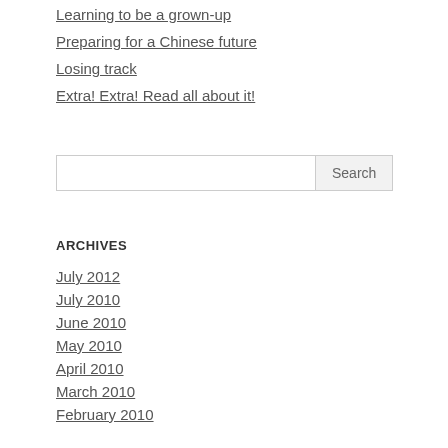Learning to be a grown-up
Preparing for a Chinese future
Losing track
Extra! Extra! Read all about it!
[Search input and Search button]
ARCHIVES
July 2012
July 2010
June 2010
May 2010
April 2010
March 2010
February 2010